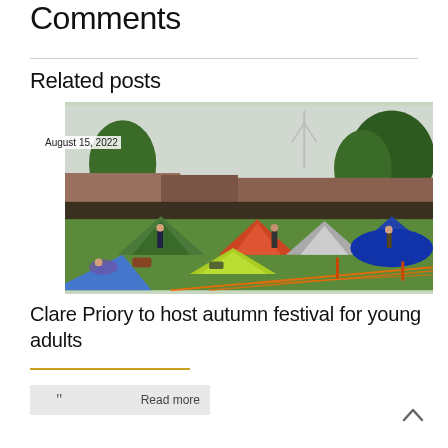Comments
Related posts
August 15, 2022
[Figure (photo): Outdoor camping scene with many colourful tents set up on a green lawn, with trees and a wind turbine visible in the background. People can be seen among the tents. Orange safety netting is visible in the foreground.]
Clare Priory to host autumn festival for young adults
Read more